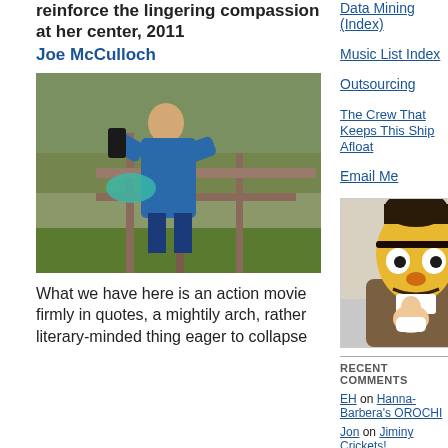reinforce the lingering compassion at her center, 2011
Joe McCulloch
[Figure (photo): A person in a blue jacket climbing or working on a metal railing structure outdoors, with trees in background]
What we have here is an action movie firmly in quotes, a mightily arch, rather literary-minded thing eager to collapse
Data Mining (Index)
Music List Index
Outsourcing
The Crew That Keeps This Ship Afloat
Email Me
[Figure (photo): Bert Muppet character mascot costume holding a baby, seated indoors with a sign showing 'ur' visible]
RECENT COMMENTS
EH on Hanna-Barbera's OROCHI
Jon on Jiminy Crickets!